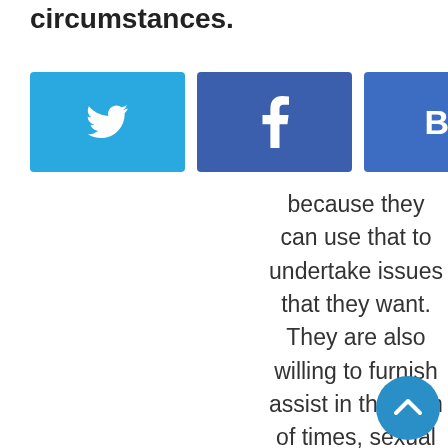circumstances.
[Figure (infographic): Social share buttons: Twitter (blue bird icon), Facebook (f icon), Hatena Bookmark (B! icon), LINE (green), sites (red/pink)]
because they can use that to undertake issues that they want. They are also willing to furnish assist in the form of times, sexual intercourse,